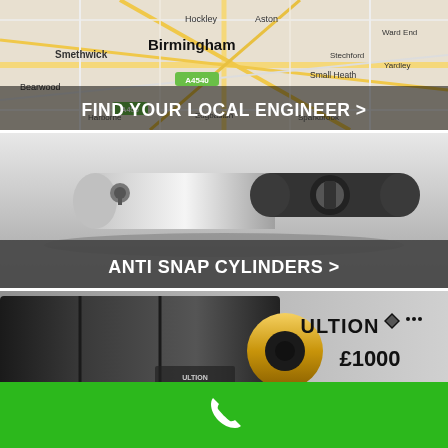[Figure (map): Map of Birmingham area showing streets and areas including Smethwick, Hockley, Aston, Birmingham, Ward End, Bearwood, A4540, A456 road labels, Small Heath, Yardley, Harbome, Edgbaston, Sparkbrook, Stechford]
FIND YOUR LOCAL ENGINEER >
[Figure (photo): Close-up photo of two anti-snap door lock cylinders on grey/white background]
ANTI SNAP CYLINDERS >
[Figure (photo): Photo of Ultion lock cylinders in black and silver with gold keyhole, with text ULTION diamond logo and £1000 GUARANTEE]
ULTION £1000 GUARANTEE
[Figure (other): Green footer bar with white phone handset icon]